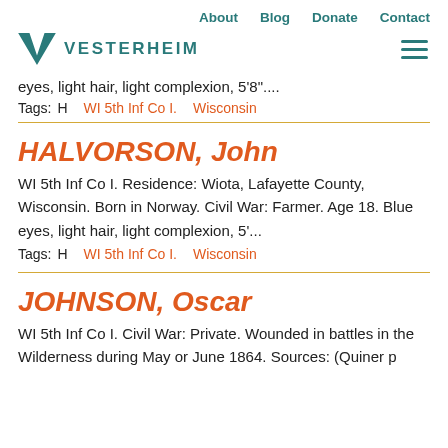About   Blog   Donate   Contact
VESTERHEIM
eyes, light hair, light complexion, 5'8"....
Tags:   H   WI 5th Inf Co I.   Wisconsin
HALVORSON, John
WI 5th Inf Co I. Residence: Wiota, Lafayette County, Wisconsin. Born in Norway. Civil War: Farmer. Age 18. Blue eyes, light hair, light complexion, 5'...
Tags:   H   WI 5th Inf Co I.   Wisconsin
JOHNSON, Oscar
WI 5th Inf Co I. Civil War: Private. Wounded in battles in the Wilderness during May or June 1864. Sources: (Quiner p